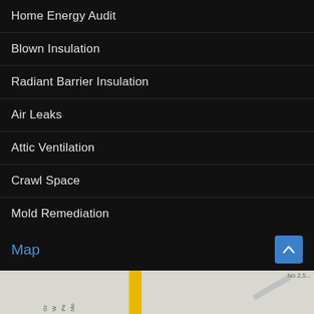Home Energy Audit
Blown Insulation
Radiant Barrier Insulation
Air Leaks
Attic Ventilation
Crawl Space
Mold Remediation
LED Lighting
Solar Panels
Map
[Figure (map): Street map showing road intersections with a yellow road running vertically]